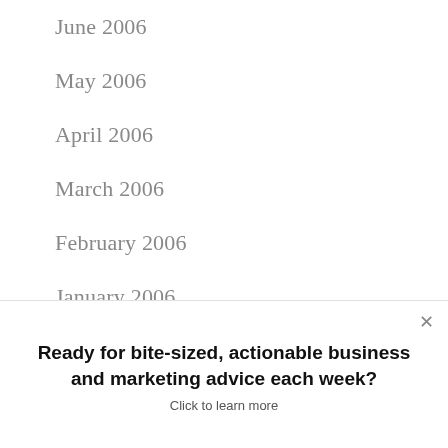June 2006
May 2006
April 2006
March 2006
February 2006
January 2006
December 2005
November 2005
October 2005
Ready for bite-sized, actionable business and marketing advice each week? Click to learn more